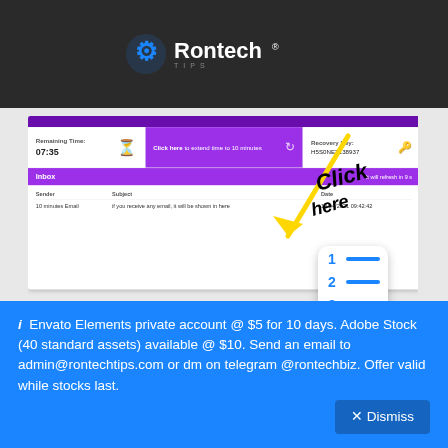Rontech TIPS
[Figure (screenshot): Screenshot of a temporary email service interface showing Remaining Time: 07:35, Click here to extend time to 10 minutes, Recovery Key: H5S0NET138937, Inbox panel, and an email row with sender '10 minutes Email', subject 'if you receive any email, it will be shown in here', date '14/04/2021 09:42:42'. Yellow arrow annotation pointing to a delete/click button, with a numbered list icon overlay.]
How to create a .edu email: In case the temporary email does not have a .edu extension, please just click the delete button as shown above until you get an email with .edu extension.
ℹ Envato Elements private account @ $5 for 10 days. Adobe Stock (40 standard assets) available @ $10. Send an email to admin@rontechtips.com or dm on telegram @rontechbiz. Offer valid while stocks last.